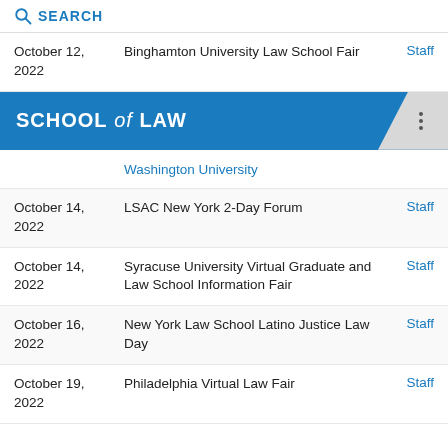SEARCH
| Date | Event | Type |
| --- | --- | --- |
| October 12, 2022 | Binghamton University Law School Fair | Staff |
|  | Washington University |  |
| October 14, 2022 | LSAC New York 2-Day Forum | Staff |
| October 14, 2022 | Syracuse University Virtual Graduate and Law School Information Fair | Staff |
| October 16, 2022 | New York Law School Latino Justice Law Day | Staff |
| October 19, 2022 | Philadelphia Virtual Law Fair | Staff |
[Figure (logo): School of Law banner with blue background and three-dot menu icon]